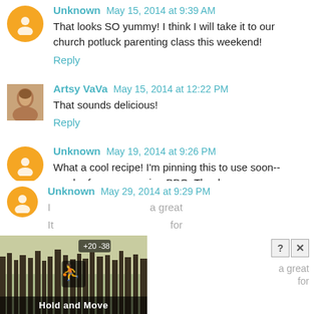Unknown May 15, 2014 at 9:39 AM
That looks SO yummy! I think I will take it to our church potluck parenting class this weekend!
Reply
Artsy VaVa May 15, 2014 at 12:22 PM
That sounds delicious!
Reply
Unknown May 19, 2014 at 9:26 PM
What a cool recipe! I'm pinning this to use soon--maybe for an upcoming BBQ. Thanks.
Reply
Unknown May 29, 2014 at 9:29 PM
[partial, cut off]
[advertisement overlay: Hold and Move]